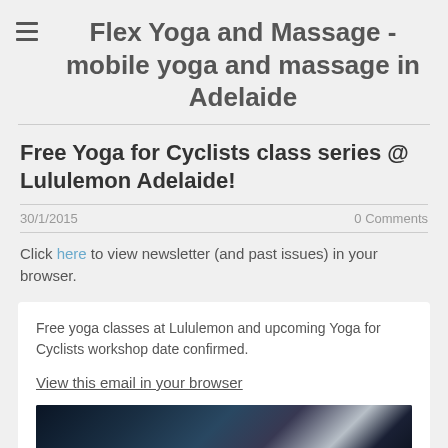Flex Yoga and Massage - mobile yoga and massage in Adelaide
Free Yoga for Cyclists class series @ Lululemon Adelaide!
30/1/2015
0 Comments
Click here to view newsletter (and past issues) in your browser.
Free yoga classes at Lululemon and upcoming Yoga for Cyclists workshop date confirmed.
View this email in your browser
[Figure (photo): Dark photo, likely a yoga or cycling class scene]